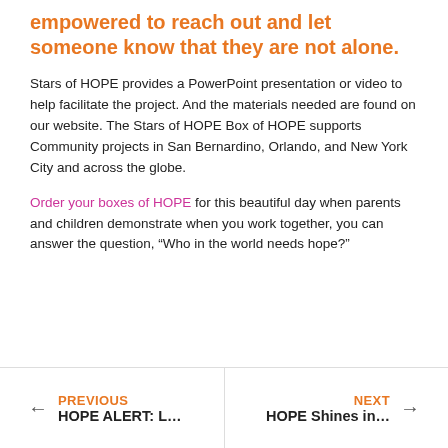empowered to reach out and let someone know that they are not alone.
Stars of HOPE provides a PowerPoint presentation or video to help facilitate the project. And the materials needed are found on our website. The Stars of HOPE Box of HOPE supports Community projects in San Bernardino, Orlando, and New York City and across the globe.
Order your boxes of HOPE for this beautiful day when parents and children demonstrate when you work together, you can answer the question, “Who in the world needs hope?”
PREVIOUS HOPE ALERT: L… | NEXT HOPE Shines in…